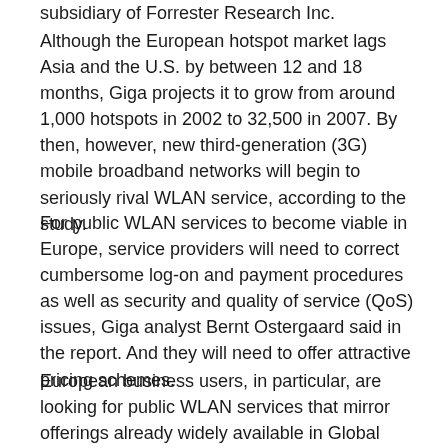Subsidiary of Forrester Research Inc.
Although the European hotspot market lags Asia and the U.S. by between 12 and 18 months, Giga projects it to grow from around 1,000 hotspots in 2002 to 32,500 in 2007. By then, however, new third-generation (3G) mobile broadband networks will begin to seriously rival WLAN service, according to the study.
For public WLAN services to become viable in Europe, service providers will need to correct cumbersome log-on and payment procedures as well as security and quality of service (QoS) issues, Giga analyst Bernt Ostergaard said in the report. And they will need to offer attractive pricing schemes.
European business users, in particular, are looking for public WLAN services that mirror offerings already widely available in Global Service for Mobile